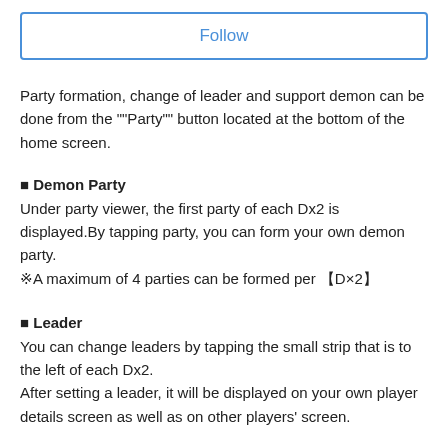Follow
Party formation, change of leader and support demon can be done from the ""Party"" button located at the bottom of the home screen.
■ Demon Party
Under party viewer, the first party of each Dx2 is displayed.By tapping party, you can form your own demon party.
※A maximum of 4 parties can be formed per 【D×2】
■ Leader
You can change leaders by tapping the small strip that is to the left of each Dx2.
After setting a leader, it will be displayed on your own player details screen as well as on other players' screen.